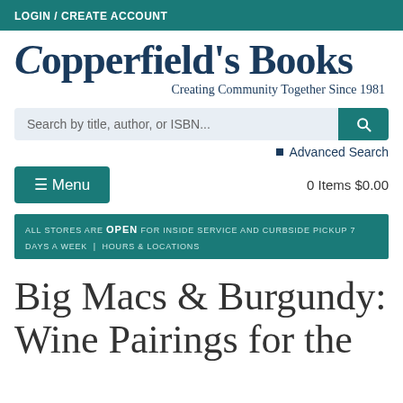LOGIN / CREATE ACCOUNT
[Figure (logo): Copperfield's Books logo with tagline 'Creating Community Together Since 1981']
Search by title, author, or ISBN...
Advanced Search
☰ Menu
0 Items $0.00
ALL STORES ARE OPEN FOR INSIDE SERVICE AND CURBSIDE PICKUP 7 DAYS A WEEK | HOURS & LOCATIONS
Big Macs & Burgundy: Wine Pairings for the